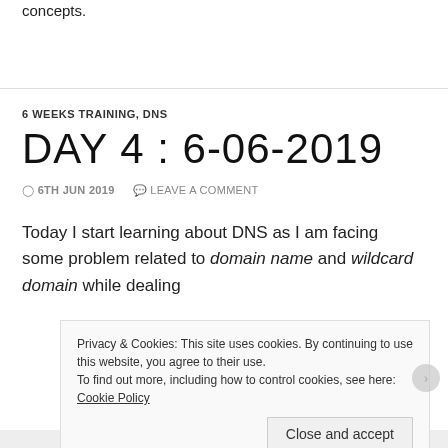concepts.
6 WEEKS TRAINING, DNS
DAY 4 : 6-06-2019
6TH JUN 2019   LEAVE A COMMENT
Today I start learning about DNS as I am facing some problem related to domain name and wildcard domain while dealing s...
Privacy & Cookies: This site uses cookies. By continuing to use this website, you agree to their use.
To find out more, including how to control cookies, see here: Cookie Policy
Close and accept